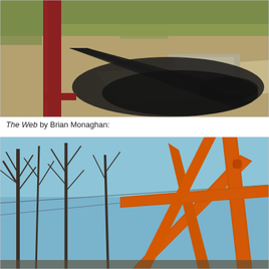[Figure (photo): Outdoor photo showing a red/maroon vertical post casting a large dark shadow on dry grass and dirt ground with a concrete slab visible in the background on a sunny day.]
The Web by Brian Monaghan:
[Figure (photo): Outdoor photo of a large orange painted steel sculpture with crossing diagonal beams, set against a backdrop of bare winter trees and blue sky.]